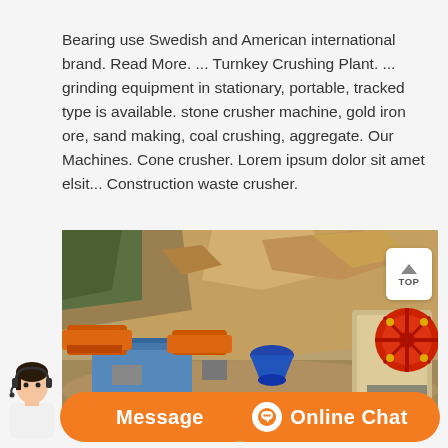Bearing use Swedish and American international brand. Read More. ... Turnkey Crushing Plant. ... grinding equipment in stationary, portable, tracked type is available. stone crusher machine, gold iron ore, sand making, coal crushing, aggregate. Our Machines. Cone crusher. Lorem ipsum dolor sit amet elsit... Construction waste crusher.
[Figure (photo): Outdoor photo of a portable stone crushing plant set against a rocky mountain hillside. Multiple machines visible including orange-colored conveyors/feeders, a blue cone crusher, and a large jaw crusher with red flywheel on the right. A blue metal prefab building/shelter in the foreground. A 'TOP' button widget overlays the upper right of the image.]
[Figure (other): Bottom navigation bar with orange rounded buttons: 'Message' on the left and 'Online Chat' with headset icon on the right. A customer service representative avatar (woman with headset) is visible on the far left.]